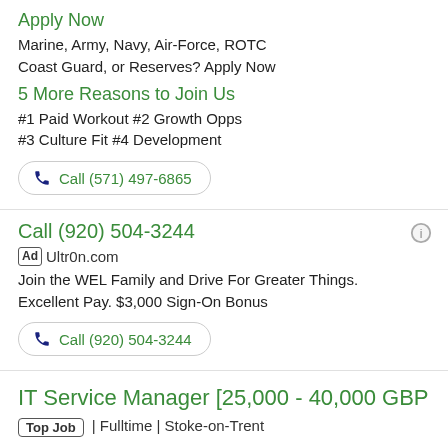Apply Now
Marine, Army, Navy, Air-Force, ROTC Coast Guard, or Reserves? Apply Now
5 More Reasons to Join Us
#1 Paid Workout #2 Growth Opps
#3 Culture Fit #4 Development
Call (571) 497-6865
Call (920) 504-3244
Ad Ultr0n.com
Join the WEL Family and Drive For Greater Things. Excellent Pay. $3,000 Sign-On Bonus
Call (920) 504-3244
IT Service Manager [25,000 - 40,000 GBP
Top Job | Fulltime | Stoke-on-Trent